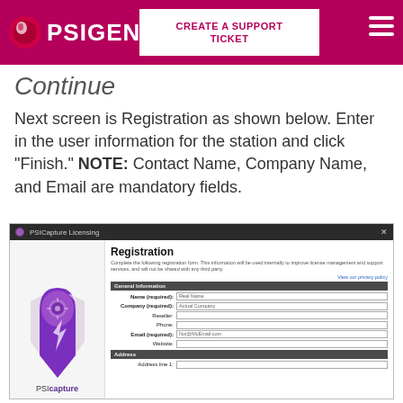PSIGEN. | CREATE A SUPPORT TICKET
Continue
Next screen is Registration as shown below. Enter in the user information for the station and click "Finish." NOTE: Contact Name, Company Name, and Email are mandatory fields.
[Figure (screenshot): PSICapture Licensing Registration form screenshot showing General Information fields: Name (required), Company (required), Reseller, Phone, Email (required), Website, and Address section]